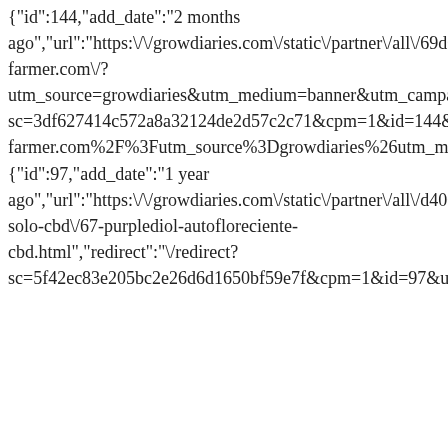{"id":144,"add_date":"2 months ago","url":"https:\/\/growdiaries.com\/static\/partner\/all\/69d09d725010d9ea8f5e20964b64ef7b.gif","link":"https:\/\/spider-farmer.com\/?utm_source=growdiaries&utm_medium=banner&utm_campaign=promo","redirect":"\/redirect?sc=3df627414c572a8a32124de2d57c2c71&cpm=1&id=144&url=https%3A%2F%2Fspider-farmer.com%2F%3Futm_source%3Dgrowdiaries%26utm_medium%3Dbanner%26utm_campaign%3Dpromo","id_user":65047,"region":"ROW","is_enable":0},{"id":97,"add_date":"1 year ago","url":"https:\/\/growdiaries.com\/static\/partner\/all\/d400052895419db3f4b10c7759b56e15.gif","link":"https:\/\/www.eliteseeds.com\/tienda\/es\/autoflorecientes-solo-cbd\/67-purplediol-autofloreciente-cbd.html","redirect":"\/redirect?sc=5f42ec83e205bc2e26d6d1650bf59e7f&cpm=1&id=97&url=https%3A%2F%2Fwww.eliteseeds.com%2Ftienda%2Fes%2Fautoflorecie